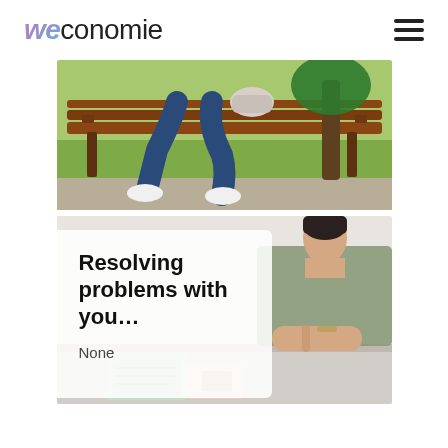weconomie
[Figure (photo): Person sitting on a park bench outdoors, legs visible wearing jeans and white sneakers, green grass and wooden bench visible in background]
[Figure (photo): Two people in conversation at a table, office setting, one person wearing olive/khaki top with bracelets, notebooks and papers visible on table. White semi-transparent card overlay on left side with text 'Resolving problems with you...' and 'None']
Resolving problems with you...
None